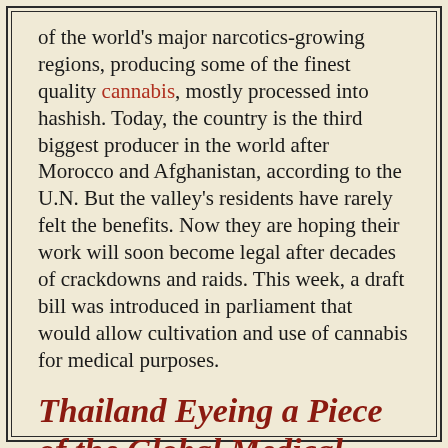of the world's major narcotics-growing regions, producing some of the finest quality cannabis, mostly processed into hashish. Today, the country is the third biggest producer in the world after Morocco and Afghanistan, according to the U.N. But the valley's residents have rarely felt the benefits. Now they are hoping their work will soon become legal after decades of crackdowns and raids. This week, a draft bill was introduced in parliament that would allow cultivation and use of cannabis for medical purposes.
Thailand Eyeing a Piece of the Global Medical Cannabis Market